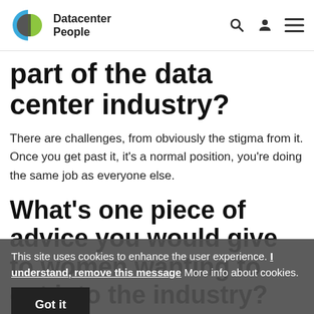Datacenter People
part of the data center industry?
There are challenges, from obviously the stigma from it. Once you get past it, it's a normal position, you're doing the same job as everyone else.
What's one piece of advice you would give to women wanting to get into the industry?
Prove them wrong.
You walk into a room, the[y] don't want to talk to you initially, but they'll realise you're the person they need t[o]
This site uses cookies to enhance the user experience. I understand, remove this message More info about cookies. Got it